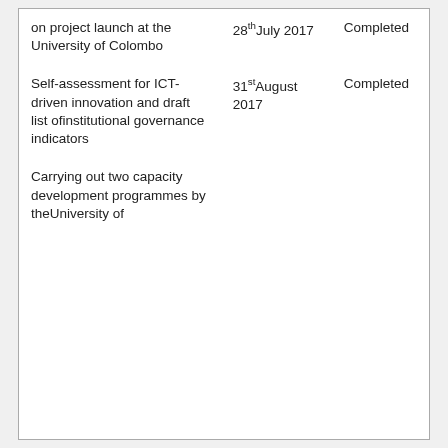| on project launch at the University of Colombo | 28th July 2017 | Completed |
| Self-assessment for ICT-driven innovation and draft list of institutional governance indicators | 31st August 2017 | Completed |
| Carrying out two capacity development programmes by the University of |  |  |